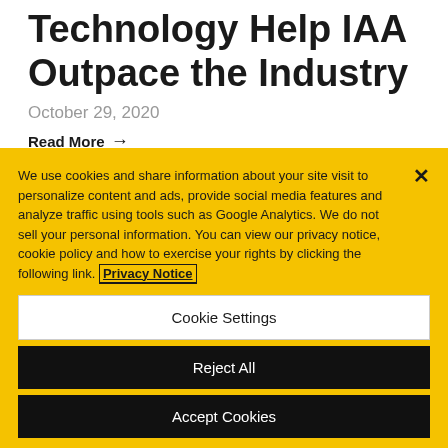Technology Help IAA Outpace the Industry
October 29, 2020
Read More →
We use cookies and share information about your site visit to personalize content and ads, provide social media features and analyze traffic using tools such as Google Analytics. We do not sell your personal information. You can view our privacy notice, cookie policy and how to exercise your rights by clicking the following link. Privacy Notice
Cookie Settings
Reject All
Accept Cookies